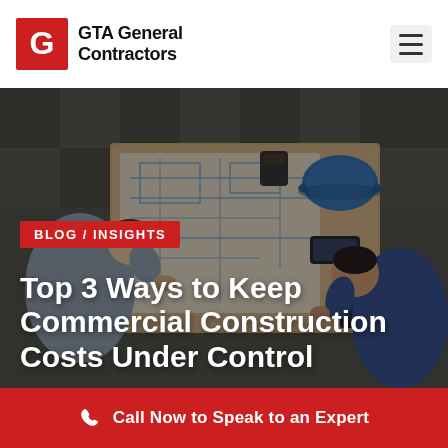GTA General Contractors
[Figure (photo): Overhead aerial view of two construction professionals reviewing blueprints on a large desk. A blue hard hat, coffee cup, smartphone, and laptop are also visible on the desk. The image has a dark overlay.]
BLOG / INSIGHTS
Top 3 Ways to Keep Commercial Construction Costs Under Control
Call Now to Speak to an Expert